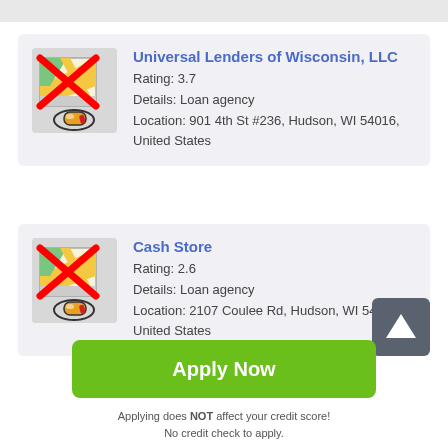[Figure (screenshot): Card listing for Universal Lenders of Wisconsin, LLC with a map icon (crossed out with red X), rating 3.7, details: Loan agency, location: 901 4th St #236, Hudson, WI 54016, United States]
[Figure (screenshot): Card listing for Cash Store with a map icon (crossed out with red X), rating 2.6, details: Loan agency, location: 2107 Coulee Rd, Hudson, WI 54..., United States. Scroll-to-top button overlaid in bottom right.]
Apply Now
Applying does NOT affect your credit score! No credit check to apply.